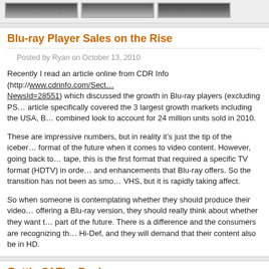[Figure (photo): Three thumbnail photos of people arranged horizontally at the top of the page]
Blu-ray Player Sales on the Rise
Posted by Ryan on October 13, 2010
Recently I read an article online from CDR Info (http://www.cdrinfo.com/Sect...NewsId=28551) which discussed the growth in Blu-ray players (excluding PS... article specifically covered the 3 largest growth markets including the USA, B... combined look to account for 24 million units sold in 2010.
These are impressive numbers, but in reality it’s just the tip of the iceber... format of the future when it comes to video content. However, going back to... tape, this is the first format that required a specific TV format (HDTV) in orde... and enhancements that Blu-ray offers. So the transition has not been as smo... VHS, but it is rapidly taking affect.
So when someone is contemplating whether they should produce their video... offering a Blu-ray version, they should really think about whether they want t... part of the future. There is a difference and the consumers are recognizing th... Hi-Def, and they will demand that their content also be in HD.
Battle Of The Bay!